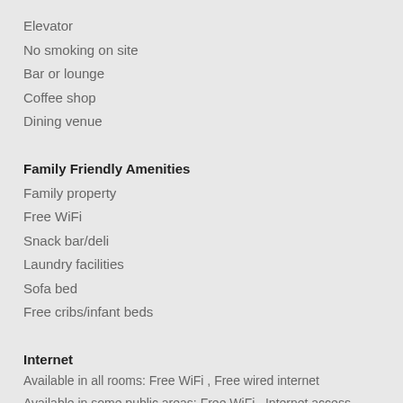Elevator
No smoking on site
Bar or lounge
Coffee shop
Dining venue
Family Friendly Amenities
Family property
Free WiFi
Snack bar/deli
Laundry facilities
Sofa bed
Free cribs/infant beds
Internet
Available in all rooms: Free WiFi , Free wired internet
Available in some public areas: Free WiFi , Internet access - wireless , Internet access in public areas - surcharge